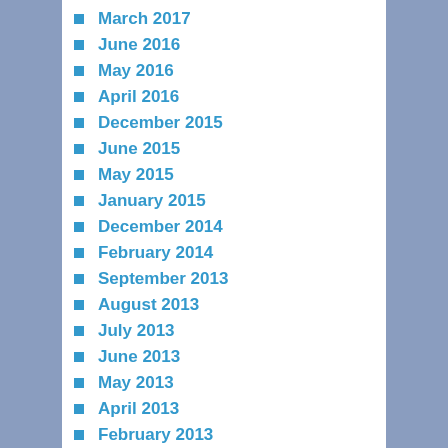March 2017
June 2016
May 2016
April 2016
December 2015
June 2015
May 2015
January 2015
December 2014
February 2014
September 2013
August 2013
July 2013
June 2013
May 2013
April 2013
February 2013
January 2013
December 2012
October 2012
September 2012